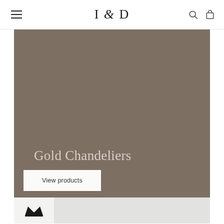I & D
[Figure (photo): Large taupe/warm brown colored hero image area for Gold Chandeliers category page]
Gold Chandeliers
View products
[Figure (logo): Crown icon badge in white/light gray square]